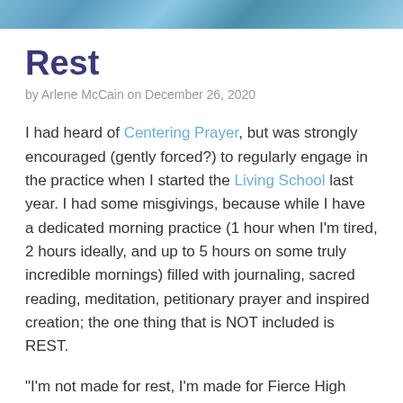[Figure (photo): Decorative header banner with blue/teal abstract texture or water pattern]
Rest
by Arlene McCain on December 26, 2020
I had heard of Centering Prayer, but was strongly encouraged (gently forced?) to regularly engage in the practice when I started the Living School last year. I had some misgivings, because while I have a dedicated morning practice (1 hour when I'm tired, 2 hours ideally, and up to 5 hours on some truly incredible mornings) filled with journaling, sacred reading, meditation, petitionary prayer and inspired creation; the one thing that is NOT included is REST.
“I’m not made for rest, I’m made for Fierce High Service,” I muttered to God. “I’m a physician and I have